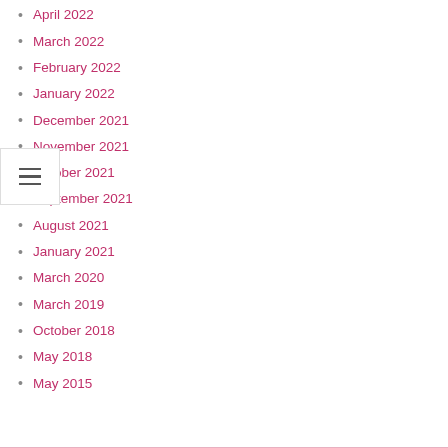April 2022
March 2022
February 2022
January 2022
December 2021
November 2021
October 2021
September 2021
August 2021
January 2021
March 2020
March 2019
October 2018
May 2018
May 2015